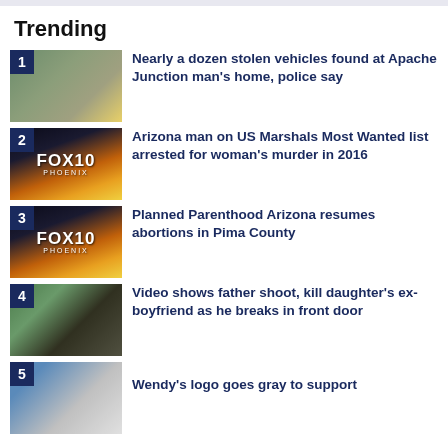Trending
1. Nearly a dozen stolen vehicles found at Apache Junction man's home, police say
2. Arizona man on US Marshals Most Wanted list arrested for woman's murder in 2016
3. Planned Parenthood Arizona resumes abortions in Pima County
4. Video shows father shoot, kill daughter's ex-boyfriend as he breaks in front door
5. Wendy's logo goes gray to support